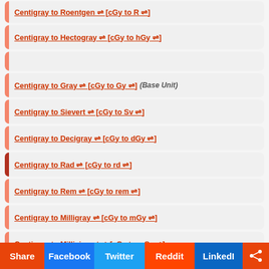Centigray to Roentgen ⇌ [cGy to R ⇌]
Centigray to Hectogray ⇌ [cGy to hGy ⇌]
Centigray to Gray ⇌ [cGy to Gy ⇌] (Base Unit)
Centigray to Sievert ⇌ [cGy to Sv ⇌]
Centigray to Decigray ⇌ [cGy to dGy ⇌]
Centigray to Rad ⇌ [cGy to rd ⇌]
Centigray to Rem ⇌ [cGy to rem ⇌]
Centigray to Milligray ⇌ [cGy to mGy ⇌]
Centigray to Millisievert ⇌ [cGy to mSv ⇌]
Centigray to Millirad ⇌ [cGy to mrd ⇌]
Centigray to Attogray ⇌ [cGy to aGy ⇌] (Smallest)
Share | Facebook | Twitter | Reddit | LinkedIn